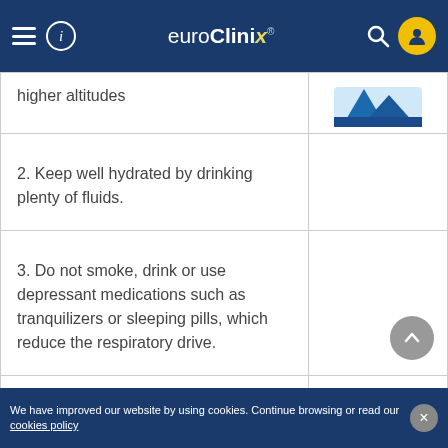euroClinix
higher altitudes
2. Keep well hydrated by drinking plenty of fluids.
3. Do not smoke, drink or use depressant medications such as tranquilizers or sleeping pills, which reduce the respiratory drive.
4. Exercise to acclimatise gradually to the altitude, focusing on fo...
We have improved our website by using cookies. Continue browsing or read our cookies policy